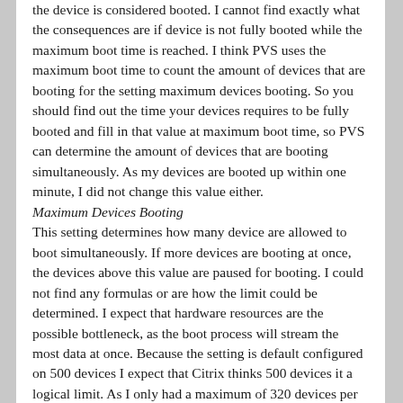the device is considered booted. I cannot find exactly what the consequences are if device is not fully booted while the maximum boot time is reached. I think PVS uses the maximum boot time to count the amount of devices that are booting for the setting maximum devices booting. So you should find out the time your devices requires to be fully booted and fill in that value at maximum boot time, so PVS can determine the amount of devices that are booting simultaneously. As my devices are booted up within one minute, I did not change this value either.
Maximum Devices Booting
This setting determines how many device are allowed to boot simultaneously. If more devices are booting at once, the devices above this value are paused for booting. I could not find any formulas or are how the limit could be determined. I expect that hardware resources are the possible bottleneck, as the boot process will stream the most data at once. Because the setting is default configured on 500 devices I expect that Citrix thinks 500 devices it a logical limit. As I only had a maximum of 320 devices per PVS server I did not change the value.
vDisk Creation Page
This settings defines the delay a vDisk will be shown (in the console?) when creating a vDisk. A larger value reduces the PVS overhead. You can define one to five, but I could not find what this means (seconds, minutes, or something...